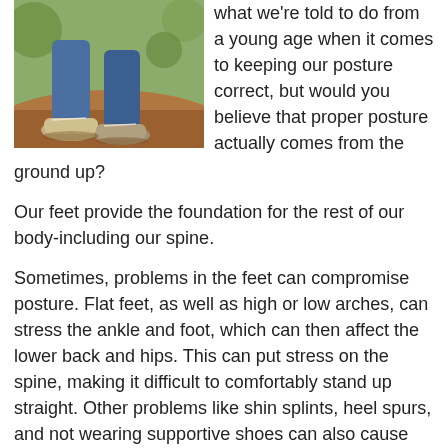[Figure (photo): Photo of a person walking outdoors, showing their feet and lower legs wearing blue jeans and sneakers on a dirt/gravel path with green foliage in background.]
what we're told to do from a young age when it comes to keeping our posture correct, but would you believe that proper posture actually comes from the ground up?
Our feet provide the foundation for the rest of our body-including our spine.
Sometimes, problems in the feet can compromise posture. Flat feet, as well as high or low arches, can stress the ankle and foot, which can then affect the lower back and hips. This can put stress on the spine, making it difficult to comfortably stand up straight. Other problems like shin splints, heel spurs, and not wearing supportive shoes can also cause posture issues.
One of the best ways to overcome poor posture? Visit our practice. We'll help identify the root cause of your posture